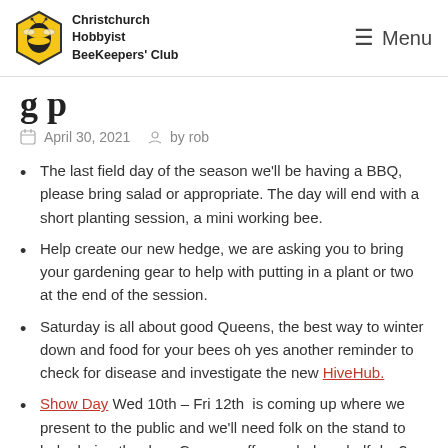Christchurch Hobbyist BeeKeepers' Club | Menu
(partial title visible — clipped at top)
April 30, 2021   by rob
The last field day of the season we'll be having a BBQ, please bring salad or appropriate. The day will end with a short planting session, a mini working bee.
Help create our new hedge, we are asking you to bring your gardening gear to help with putting in a plant or two at the end of the session.
Saturday is all about good Queens, the best way to winter down and food for your bees oh yes another reminder to check for disease and investigate the new HiveHub.
Show Day Wed 10th – Fri 12th  is coming up where we present to the public and we'll need folk on the stand to help during the day.  Can you offer a whole or half day? We